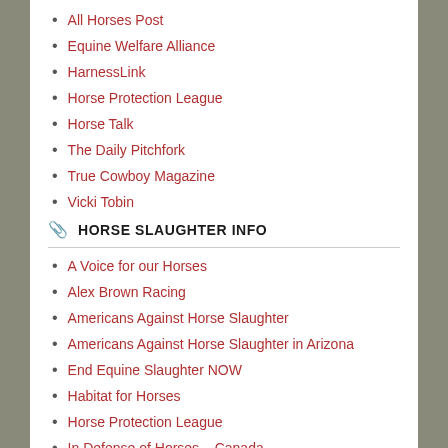All Horses Post
Equine Welfare Alliance
HarnessLink
Horse Protection League
Horse Talk
The Daily Pitchfork
True Cowboy Magazine
Vicki Tobin
HORSE SLAUGHTER INFO
A Voice for our Horses
Alex Brown Racing
Americans Against Horse Slaughter
Americans Against Horse Slaughter in Arizona
End Equine Slaughter NOW
Habitat for Horses
Horse Protection League
In Defense of Horses – Canada
Manes and Tails Organization
Mary Nash's Horse Meat Site